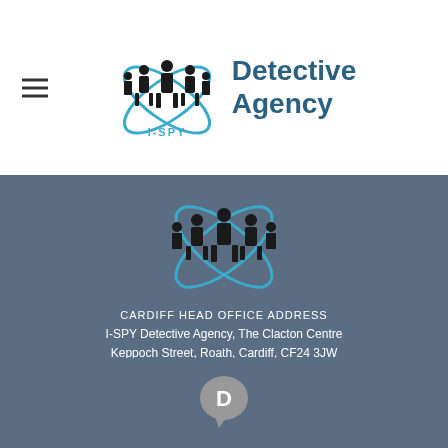[Figure (logo): I-SPY Detective Agency logo in header: silhouettes of figures with blue orbital rings around them, plus text 'Detective Agency' in teal/dark blue]
[Figure (logo): I-SPY Detective Agency logo repeated in footer section on grey-blue background]
CARDIFF HEAD OFFICE ADDRESS
I-SPY Detective Agency, The Clacton Centre
Keppoch Street, Roath, Cardiff, CF24 3JW
[Figure (infographic): Apple and Android app icons (white) indicating app availability]
DOWNLOAD
OUR APP
[Figure (logo): Disqus comment badge - grey circle with white D letter]